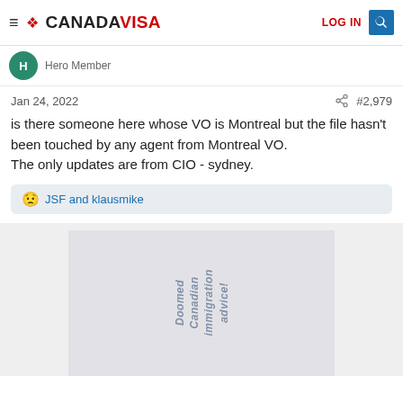CANADAVISA — LOG IN
Hero Member
Jan 24, 2022   #2,979
is there someone here whose VO is Montreal but the file hasn't been touched by any agent from Montreal VO.
The only updates are from CIO - sydney.
JSF and klausmike
[Figure (other): Advertisement or image block showing rotated text: 'Doomed Canadian immigration advice!']